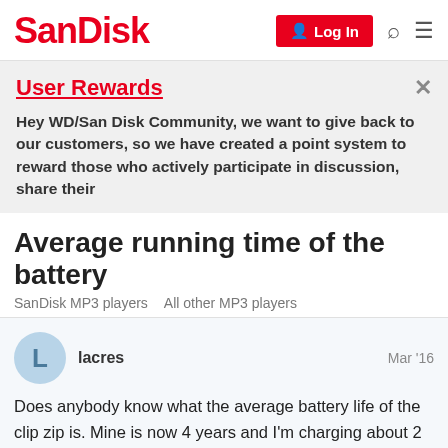SanDisk | Log In
User Rewards
Hey WD/San Disk Community, we want to give back to our customers, so we have created a point system to reward those who actively participate in discussion, share their
Average running time of the battery
SanDisk MP3 players   All other MP3 players
lacres   Mar '16
Does anybody know what the average battery life of the clip zip is. Mine is now 4 years and I'm charging about 2 x a week. Thank you in advance.
1 / 8